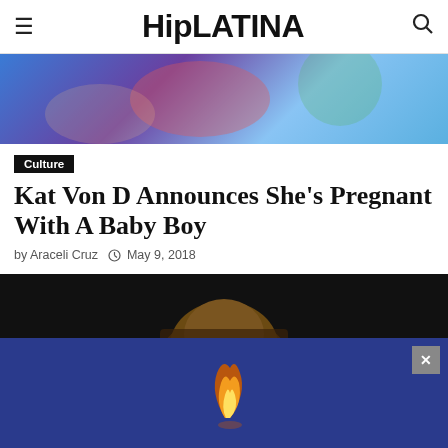HipLATINA
[Figure (photo): Top hero image with blue/purple tones showing partial body or abstract image]
Culture
Kat Von D Announces She’s Pregnant With A Baby Boy
by Araceli Cruz  © May 9, 2018
[Figure (photo): Photo of Kat Von D, partially visible face with dark hair against black background]
[Figure (other): Blue advertisement banner with a small flame/figure logo and an X close button]